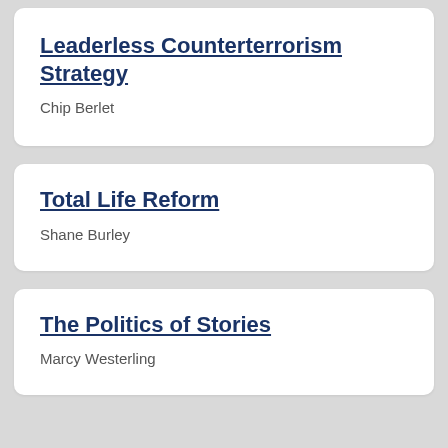Leaderless Counterterrorism Strategy
Chip Berlet
Total Life Reform
Shane Burley
The Politics of Stories
Marcy Westerling